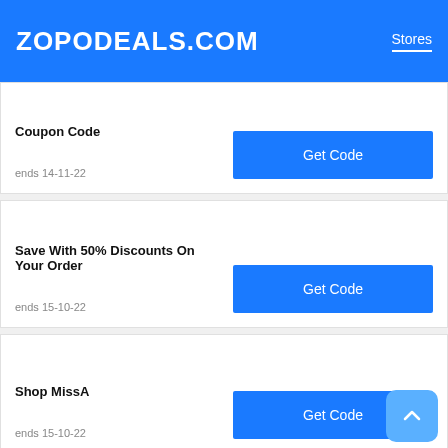ZOPODEALS.COM   Stores
Coupon Code
ends 14-11-22
Get Code
Save With 50% Discounts On Your Order
ends 15-10-22
Get Code
Shop MissA
ends 15-10-22
Get Code